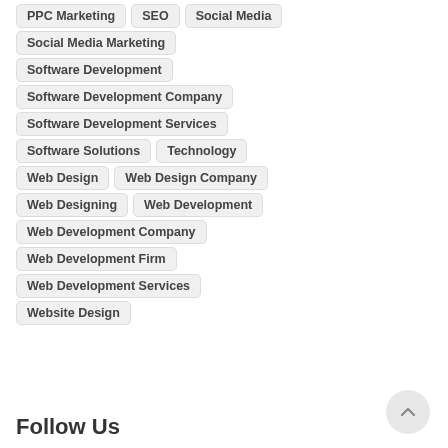PPC Marketing
SEO
Social Media
Social Media Marketing
Software Development
Software Development Company
Software Development Services
Software Solutions
Technology
Web Design
Web Design Company
Web Designing
Web Development
Web Development Company
Web Development Firm
Web Development Services
Website Design
Follow Us